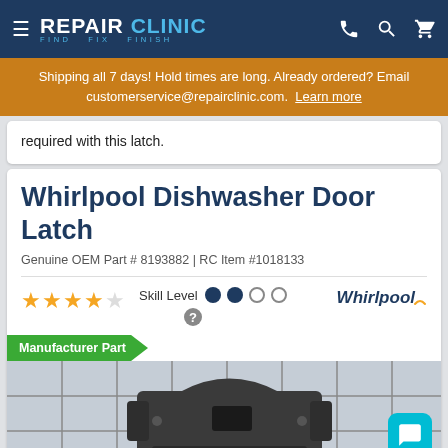REPAIR CLINIC — FIND FIX FINISH
Shipping all 7 days! Hold times are long. Already ordered? Email customerservice@repairclinic.com. Learn more
required with this latch.
Whirlpool Dishwasher Door Latch
Genuine OEM Part # 8193882 | RC Item #1018133
Skill Level ● ● ○ ○
[Figure (logo): Whirlpool brand logo]
Manufacturer Part
[Figure (photo): Whirlpool dishwasher door latch part shown on tiled background]